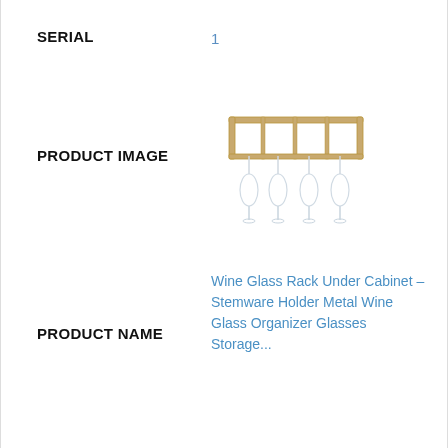SERIAL
1
PRODUCT IMAGE
[Figure (illustration): A gold/brass metal wine glass rack under cabinet stemware holder with multiple wine glasses hanging from it]
PRODUCT NAME
Wine Glass Rack Under Cabinet – Stemware Holder Metal Wine Glass Organizer Glasses Storage...